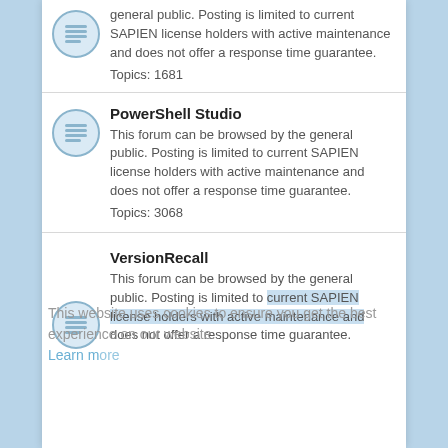general public. Posting is limited to current SAPIEN license holders with active maintenance and does not offer a response time guarantee. Topics: 1681
PowerShell Studio
This forum can be browsed by the general public. Posting is limited to current SAPIEN license holders with active maintenance and does not offer a response time guarantee. Topics: 3068
This website uses cookies to ensure you get the best experience on our website. Learn more
VersionRecall
This forum can be browsed by the general public. Posting is limited to current SAPIEN license holders with active maintenance and does not offer a response time guarantee.